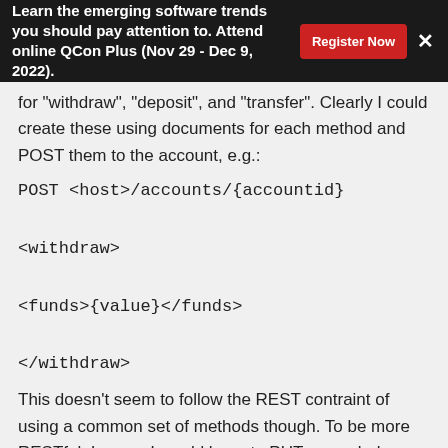Learn the emerging software trends you should pay attention to. Attend online QCon Plus (Nov 29 - Dec 9, 2022).
for "withdraw", "deposit", and "transfer". Clearly I could create these using documents for each method and POST them to the account, e.g.:
POST <host>/accounts/{accountid}

<withdraw>

<funds>{value}</funds>

</withdraw>
This doesn't seem to follow the REST contraint of using a common set of methods though. To be more RESTful, I guess I would have to PUT a new balance value to the account (at least this would